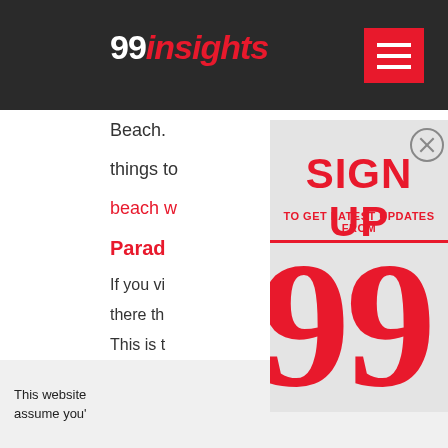99insights
Beach.
things to
beach w
Parad
If you vi
there th
This is t
[Figure (screenshot): Modal popup overlay on 99insights website with 'SIGN UP' heading in bold red text, subheading 'TO GET LATEST UPDATES FROM' in red, a red horizontal divider, and large red '99' logo at bottom on light gray background. Close button (X in circle) in top right corner.]
This website
assume you'